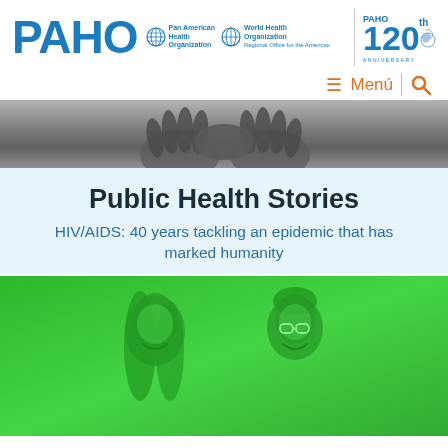[Figure (logo): PAHO logo with Pan American Health Organization and World Health Organization Americas text, plus 120th anniversary badge]
≡ Menú | 🔍
[Figure (photo): Black and white close-up photograph of hands clasped together]
Public Health Stories
HIV/AIDS: 40 years tackling an epidemic that has marked humanity
[Figure (photo): Two women smiling against a bright green background]